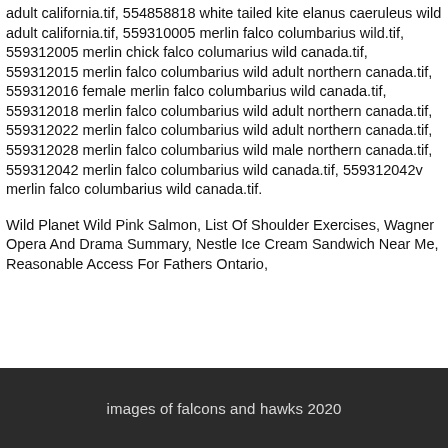adult california.tif, 554858818 white tailed kite elanus caeruleus wild adult california.tif, 559310005 merlin falco columbarius wild.tif, 559312005 merlin chick falco columarius wild canada.tif, 559312015 merlin falco columbarius wild adult northern canada.tif, 559312016 female merlin falco columbarius wild canada.tif, 559312018 merlin falco columbarius wild adult northern canada.tif, 559312022 merlin falco columbarius wild adult northern canada.tif, 559312028 merlin falco columbarius wild male northern canada.tif, 559312042 merlin falco columbarius wild canada.tif, 559312042v merlin falco columbarius wild canada.tif.
Wild Planet Wild Pink Salmon, List Of Shoulder Exercises, Wagner Opera And Drama Summary, Nestle Ice Cream Sandwich Near Me, Reasonable Access For Fathers Ontario,
images of falcons and hawks 2020